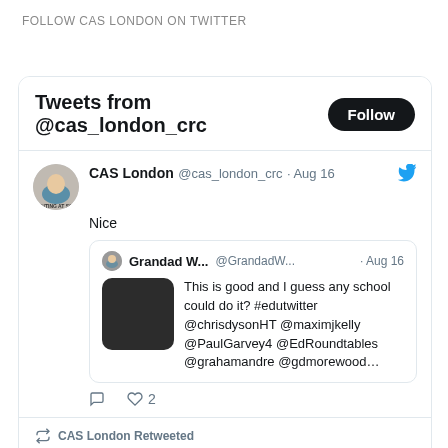FOLLOW CAS LONDON ON TWITTER
[Figure (screenshot): Twitter widget showing tweets from @cas_london_crc with a Follow button, one tweet from CAS London saying 'Nice' with a quoted tweet from Grandad W... and a retweet section below.]